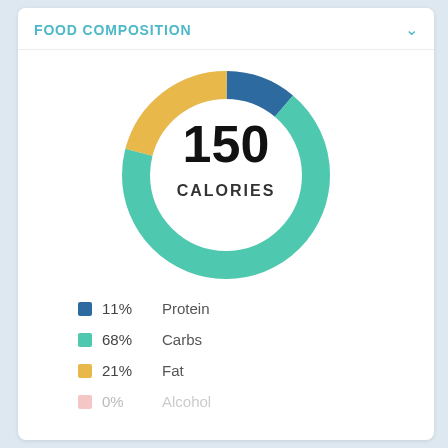FOOD COMPOSITION
[Figure (donut-chart): 150 CALORIES]
11%  Protein
68%  Carbs
21%  Fat
0%  Alcohol